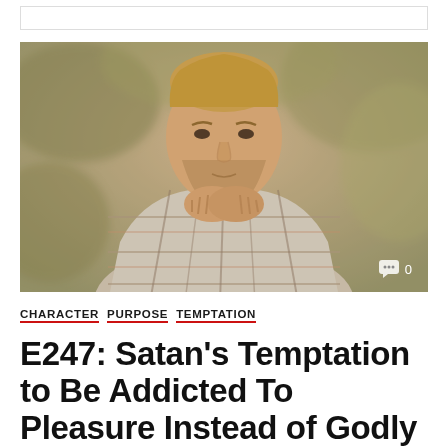[Figure (photo): A bearded man with short blond hair wearing a plaid flannel shirt, resting his chin on his clasped hands, looking thoughtful. Background is blurred outdoor/forest setting. A comment icon with '0' appears in the bottom right of the image.]
CHARACTER   PURPOSE   TEMPTATION
E247: Satan’s Temptation to Be Addicted To Pleasure Instead of Godly Duty